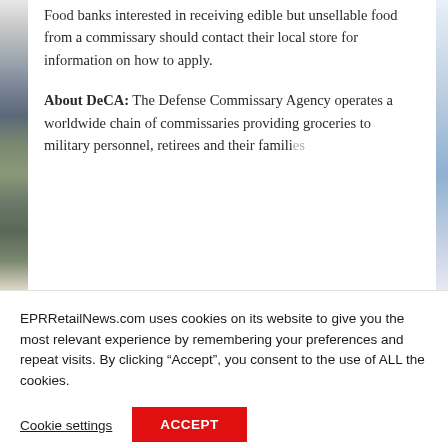Food banks interested in receiving edible but unsellable food from a commissary should contact their local store for information on how to apply.
About DeCA: The Defense Commissary Agency operates a worldwide chain of commissaries providing groceries to military personnel, retirees and their families.
EPRRetailNews.com uses cookies on its website to give you the most relevant experience by remembering your preferences and repeat visits. By clicking “Accept”, you consent to the use of ALL the cookies.